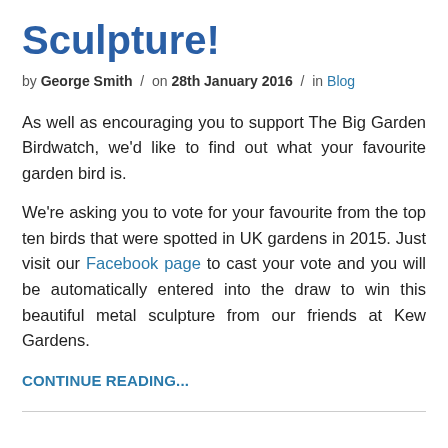Sculpture!
by George Smith / on 28th January 2016 / in Blog
As well as encouraging you to support The Big Garden Birdwatch, we'd like to find out what your favourite garden bird is.
We're asking you to vote for your favourite from the top ten birds that were spotted in UK gardens in 2015. Just visit our Facebook page to cast your vote and you will be automatically entered into the draw to win this beautiful metal sculpture from our friends at Kew Gardens.
CONTINUE READING...